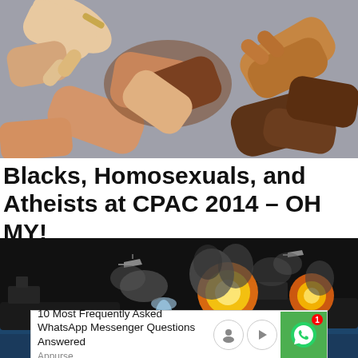[Figure (photo): Four hands of different skin tones clasping each other's wrists in a circular unity gesture against a grey background.]
Blacks, Homosexuals, and Atheists at CPAC 2014 – OH MY!
[Figure (photo): Historical war scene showing ships under attack with explosions and aircraft flying overhead, resembling Pearl Harbor attack imagery. An advertisement overlay is visible at the bottom reading '10 Most Frequently Asked WhatsApp Messenger Questions Answered' by Appurse, with a WhatsApp icon.]